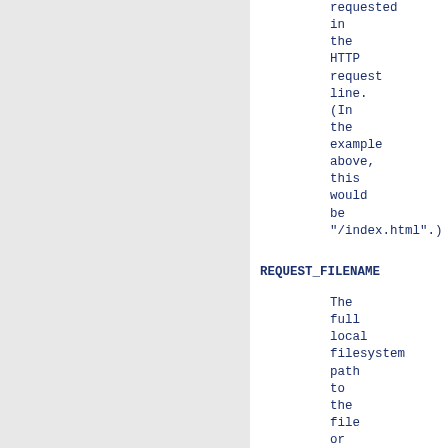requested in the HTTP request line. (In the example above, this would be "/index.html".)
REQUEST_FILENAME
The full local filesystem path to the file or